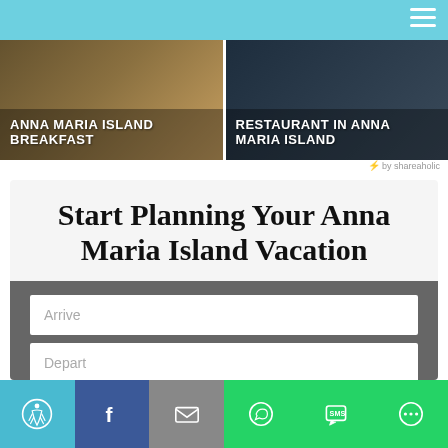[Figure (screenshot): Website header with light blue top bar and hamburger menu icon]
[Figure (photo): Two image cards side by side: left card shows 'ANNA MARIA ISLAND BREAKFAST' with food/plate image, right card shows 'RESTAURANT IN ANNA MARIA ISLAND' with dark restaurant ambiance]
by shareaholic
Start Planning Your Anna Maria Island Vacation
Arrive
Depart
Search All Rentals
[Figure (screenshot): Bottom social sharing bar with accessibility icon, Facebook, email, WhatsApp, SMS, and more options buttons]